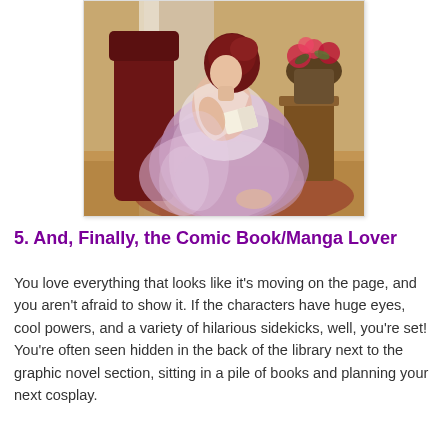[Figure (illustration): A classical painting of a woman in a flowing lavender/purple dress sitting in a chair and reading a book, in a warmly lit interior with curtains and a vase of flowers on a side table in the background.]
5. And, Finally, the Comic Book/Manga Lover
You love everything that looks like it's moving on the page, and you aren't afraid to show it. If the characters have huge eyes, cool powers, and a variety of hilarious sidekicks, well, you're set! You're often seen hidden in the back of the library next to the graphic novel section, sitting in a pile of books and planning your next cosplay.